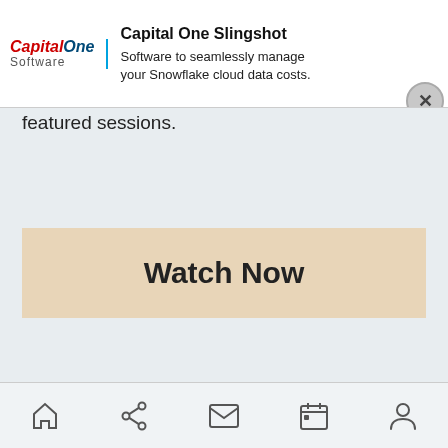[Figure (screenshot): Capital One Software advertisement banner showing Capital One Slingshot product with tagline 'Software to seamlessly manage your Snowflake cloud data costs.' with a close button (X)]
featured sessions.
Watch Now
Join forces with VentureBeat at our upcoming AI & data events
Sponsor VB Events
Navigation bar with home, share, mail, calendar, and profile icons